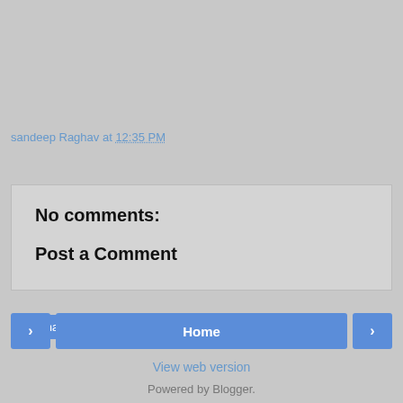sandeep Raghav at 12:35 PM
Share
No comments:
Post a Comment
< Home >
View web version
Powered by Blogger.